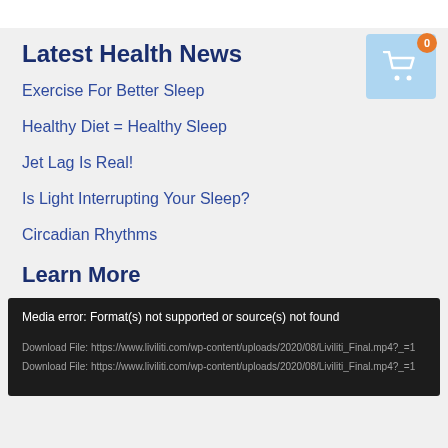Latest Health News
Exercise For Better Sleep
Healthy Diet = Healthy Sleep
Jet Lag Is Real!
Is Light Interrupting Your Sleep?
Circadian Rhythms
Learn More
Media error: Format(s) not supported or source(s) not found
Download File: https://www.liviliti.com/wp-content/uploads/2020/08/Liviliti_Final.mp4?_=1
Download File: https://www.liviliti.com/wp-content/uploads/2020/08/Liviliti_Final.mp4?_=1